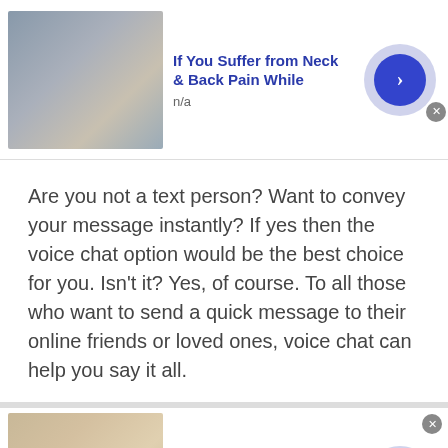[Figure (photo): Advertisement banner: photo of person touching neck/chin, ad title 'If You Suffer from Neck & Back Pain While', subtitle 'n/a', with blue arrow button and close X button]
Are you not a text person? Want to convey your message instantly? If yes then the voice chat option would be the best choice for you. Isn't it? Yes, of course. To all those who want to send a quick message to their online friends or loved ones, voice chat can help you say it all.

If we say talking to strangers in Greece via TWS voice message is far better than text message then
[Figure (photo): Advertisement banner: photo of woman touching neck, ad title 'If You Suffer from Neck & Back Pain While', subtitle 'n/a', with blue arrow button and close X button]